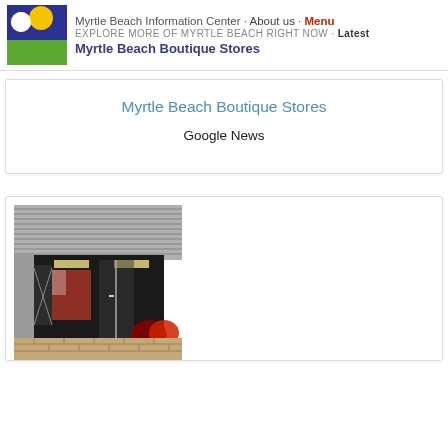Myrtle Beach Information Center · About us · Menu
EXPLORE MORE OF MYRTLE BEACH RIGHT NOW · Latest
Myrtle Beach Boutique Stores
Myrtle Beach Boutique Stores
Google News
[Figure (photo): Exterior storefront of a boutique store in Myrtle Beach showing glass windows, display items, striped ceiling overhang, and brick base]